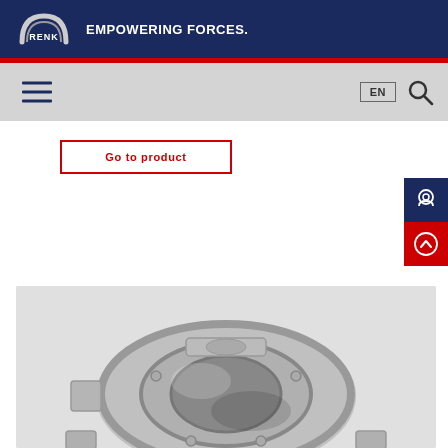[Figure (logo): RENK logo with arch shape and EMPOWERING FORCES. tagline on dark navy header]
[Figure (screenshot): Navigation bar with hamburger menu icon, EN language button, and search icon on grey background]
Go to product
[Figure (illustration): Blue square icon with circular contact/headphone symbol]
[Figure (illustration): Red square icon with upward chevron arrow symbol]
[Figure (photo): 3D rendered silver/grey metallic bearing housing component with circular opening, viewed from an angle on light grey background]